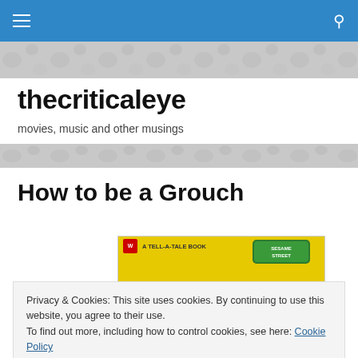thecriticaleye — navigation bar
thecriticaleye
movies, music and other musings
How to be a Grouch
[Figure (photo): Book cover: 'How to be a Grouch' — A Tell-A-Tale Book, Sesame Street, yellow background with red lettering showing 'HOW TO BE A']
Privacy & Cookies: This site uses cookies. By continuing to use this website, you agree to their use.
To find out more, including how to control cookies, see here: Cookie Policy
Close and accept